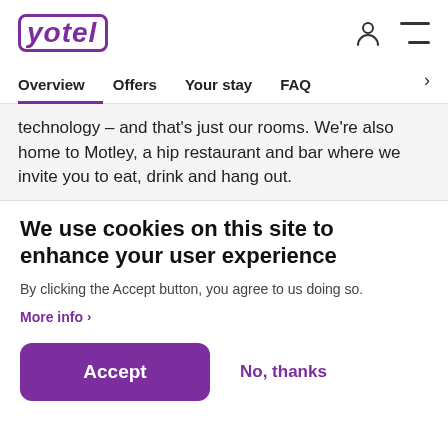YOTEL
Overview  Offers  Your stay  FAQ  >
technology – and that's just our rooms. We're also home to Motley, a hip restaurant and bar where we invite you to eat, drink and hang out.
We use cookies on this site to enhance your user experience
By clicking the Accept button, you agree to us doing so.
More info >
Accept   No, thanks